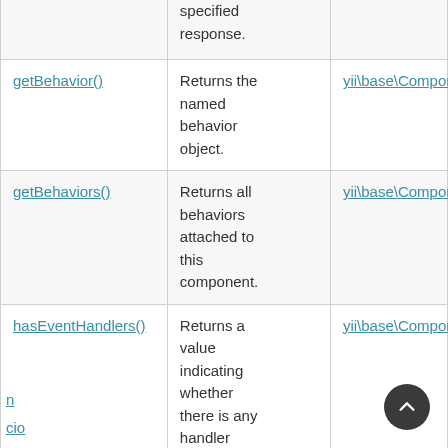| Method | Description | Defined By |
| --- | --- | --- |
| (partial) specified response. |  |  |
| getBehavior() | Returns the named behavior object. | yii\base\Component |
| getBehaviors() | Returns all behaviors attached to this component. | yii\base\Component |
| hasEventHandlers() | Returns a value indicating whether there is any handler attached to (partial) | yii\base\Component |